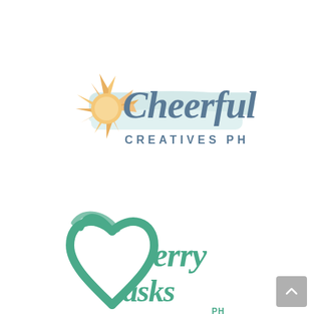[Figure (logo): Cheerful Creatives PH logo: a sun icon in peach/golden color on the left, with a light teal horizontal brush stroke background, and the word 'Cheerful' in a large script font in slate blue-gray, with 'CREATIVES PH' in spaced sans-serif beneath it.]
[Figure (logo): Merry Masks PH logo: a heart shape formed with script lettering in teal green, with 'Merry' in script and 'Masks' below, with 'PH' in small text at bottom right. Partially visible at bottom of page.]